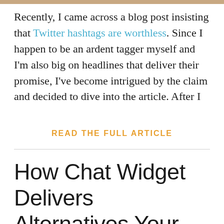[Figure (photo): Partial photo strip at top of page showing a person]
Recently, I came across a blog post insisting that Twitter hashtags are worthless. Since I happen to be an ardent tagger myself and I'm also big on headlines that deliver their promise, I've become intrigued by the claim and decided to dive into the article. After I
READ THE FULL ARTICLE
How Chat Widget Delivers Alternatives Your Business Could Use